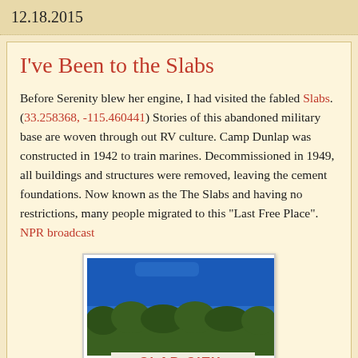12.18.2015
I've Been to the Slabs
Before Serenity blew her engine, I had visited the fabled Slabs. (33.258368, -115.460441) Stories of this abandoned military base are woven through out RV culture. Camp Dunlap was constructed in 1942 to train marines. Decommissioned in 1949,  all buildings and structures were removed, leaving the cement foundations. Now known as the The Slabs and having no restrictions, many people migrated to this "Last Free Place". NPR broadcast
[Figure (photo): Photo of Slab City sign against a blue sky with green trees visible. The sign reads 'SLAB CITY' in red letters on a white background.]